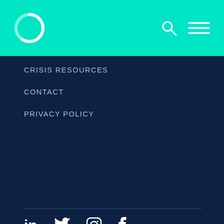[Figure (logo): Teal/mint colored header bar with a circular logo on the left (open circle with gradient) and search icon and hamburger menu icon on the right]
CRISIS RESOURCES
CONTACT
PRIVACY POLICY
[Figure (illustration): Social media icons: LinkedIn, Twitter, Instagram, Facebook — white icons on dark navy background]
NEWSLETTER SIGNUP
[Figure (screenshot): reCAPTCHA widget showing the spinning arrows logo with 'Privacy - Terms' text]
Your email address
SUBMIT